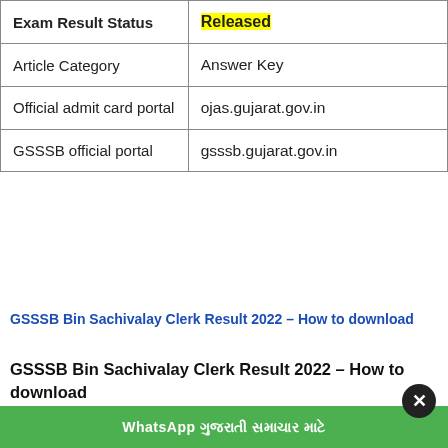| Exam Result Status | Released |
| --- | --- |
| Article Category | Answer Key |
| Official admit card portal | ojas.gujarat.gov.in |
| GSSSB official portal | gsssb.gujarat.gov.in |
GSSSB Bin Sachivalay Clerk Result 2022 – How to download
GSSSB Bin Sachivalay Clerk Result 2022 – How to download
Total Time: 3 minutes